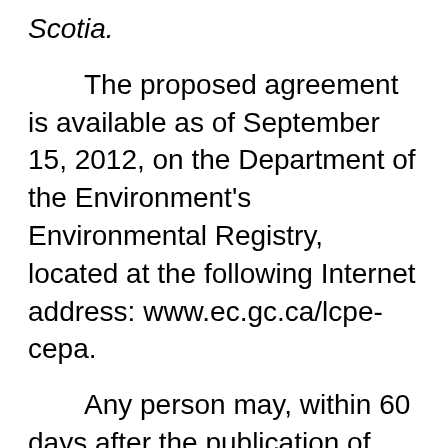Scotia.
The proposed agreement is available as of September 15, 2012, on the Department of the Environment's Environmental Registry, located at the following Internet address: www.ec.gc.ca/lcpe-cepa.
Any person may, within 60 days after the publication of this notice, file with the Minister comments or a notice of objection. All such comments and notices must cite the present notice and its date of publication in the Canada Gazette, Part I, and be sent to the following contact